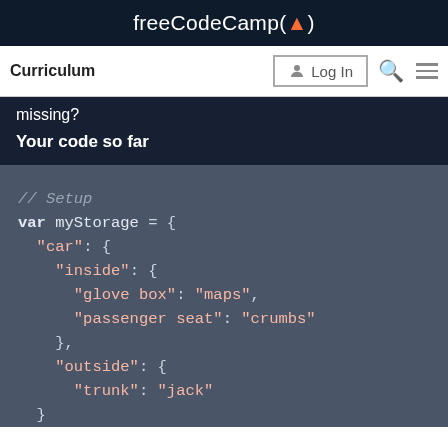freeCodeCamp(🔥)
Curriculum  Log In  🔍 ☰
missing?
Your code so far
// Setup
var myStorage = {
  "car": {
    "inside": {
      "glove box": "maps",
      "passenger seat": "crumbs"
    },
    "outside": {
      "trunk": "jack"
    }
  }